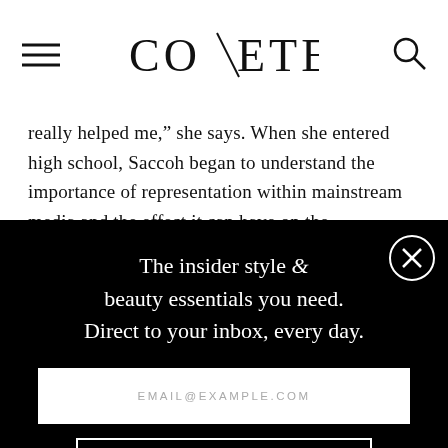COVETEUR
really helped me,” she says. When she entered high school, Saccoh began to understand the importance of representation within mainstream media and the effect it can have on the subconscious.
[Figure (screenshot): Newsletter signup modal overlay on black background with close button, headline text, email input field, and sign up button]
The insider style & beauty essentials you need. Direct to your inbox, every day.
EMAIL@EXAMPLE.COM
SIGN UP